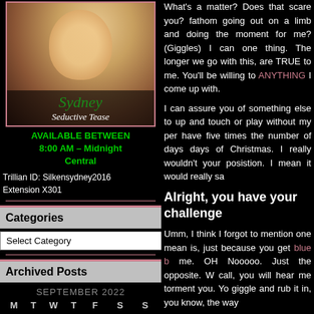[Figure (photo): Profile photo of Sydney with text overlays 'Sydney' and 'Seductive Tease']
AVAILABLE BETWEEN
8:00 AM – Midnight
Central
Trillian ID: Silkensydney2016
Extension X301
Categories
Select Category
Archived Posts
SEPTEMBER 2022
| M | T | W | T | F | S | S |
| --- | --- | --- | --- | --- | --- | --- |
|  |  |  | 1 | 2 | 3 | 4 | 5 |
| 6 | 7 | 8 | 9 | 10 | 11 | 12 |
What's a matter? Does that scare you? fathom going out on a limb and doing the moment for me? (Giggles) I can one thing. The longer we go with this, are TRUE to me. You'll be willing to ANYTHING I come up with.
I can assure you of something else to up and touch or play without my per have five times the number of days days of Christmas. I really wouldn't your posistion. I mean it would really sa
Alright, you have your challenge
Umm, I think I forgot to mention one mean is, just because you get blue b me. OH Nooooo. Just the opposite. W call, you will hear me torment you. Yo giggle and rub it in, you know, the way
The Sassy One-
Hannah
866-930-0008 x307